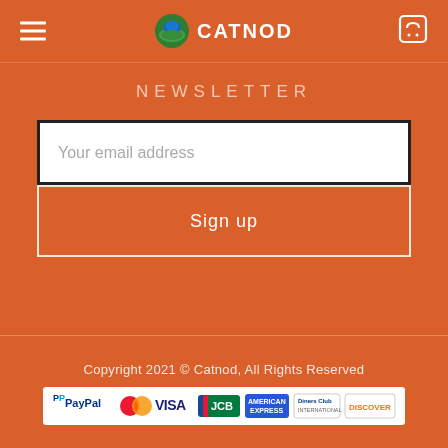CATNOD
NEWSLETTER
Your email address
Sign up
Copyright 2021 © Catnod, All Rights Reserved
[Figure (other): Payment method logos: PayPal, Mastercard, VISA, JCB, American Express, Diners Club, Discover]